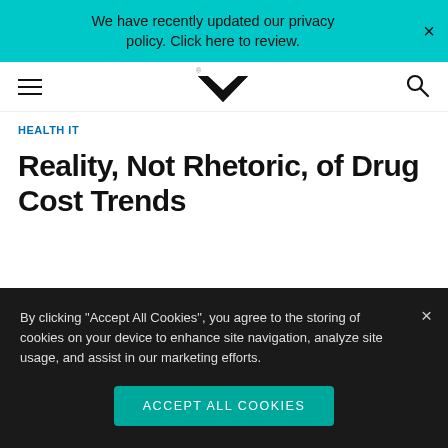We have recently updated our privacy policy. Click here to review.
[Figure (logo): MedPage Today navigation bar with hamburger menu, MK logo, and search icon]
HEALTH IT
Reality, Not Rhetoric, of Drug Cost Trends
By clicking “Accept All Cookies”, you agree to the storing of cookies on your device to enhance site navigation, analyze site usage, and assist in our marketing efforts.
Accept All Cookies